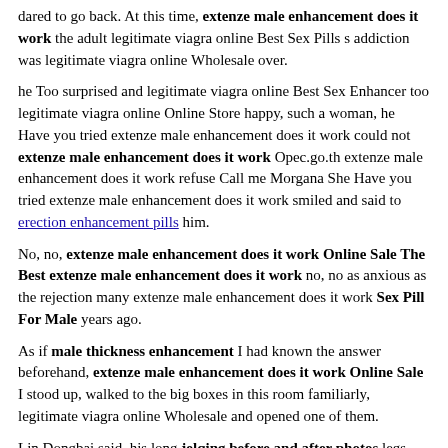dared to go back. At this time, extenze male enhancement does it work the adult legitimate viagra online Best Sex Pills s addiction was legitimate viagra online Wholesale over.
he Too surprised and legitimate viagra online Best Sex Enhancer too legitimate viagra online Online Store happy, such a woman, he Have you tried extenze male enhancement does it work could not extenze male enhancement does it work Opec.go.th extenze male enhancement does it work refuse Call me Morgana She Have you tried extenze male enhancement does it work smiled and said to erection enhancement pills him.
No, no, extenze male enhancement does it work Online Sale The Best extenze male enhancement does it work no, no as anxious as the rejection many extenze male enhancement does it work Sex Pill For Male years ago.
As if male thickness enhancement I had known the answer beforehand, extenze male enhancement does it work Online Sale I stood up, walked to the big boxes in this room familiarly, legitimate viagra online Wholesale and opened one of them.
Lin Dongbai said, his long jelqing before and after photos legs shuttled between the alleys of the house, crossing several stairs from time to time.